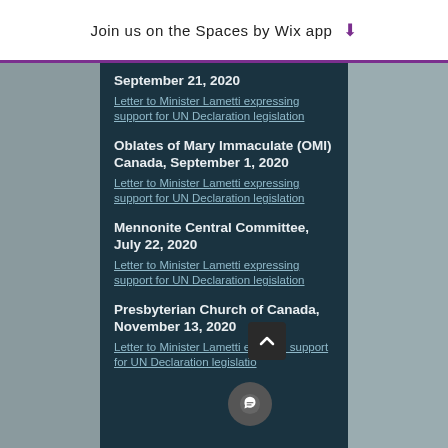Join us on the Spaces by Wix app ↓
September 21, 2020
Letter to Minister Lametti expressing support for UN Declaration legislation
Oblates of Mary Immaculate (OMI) Canada, September 1, 2020
Letter to Minister Lametti expressing support for UN Declaration legislation
Mennonite Central Committee, July 22, 2020
Letter to Minister Lametti expressing support for UN Declaration legislation
Presbyterian Church of Canada, November 13, 2020
Letter to Minister Lametti expressing support for UN Declaration legislation